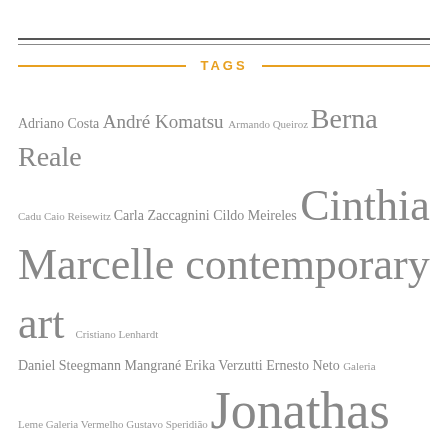TAGS
Adriano Costa André Komatsu Armando Queiroz Berna Reale Cadu Caio Reisewitz Carla Zaccagnini Cildo Meireles Cinthia Marcelle contemporary art Cristiano Lenhardt Daniel Steegmann Mangrané Erika Verzutti Ernesto Neto Galeria Leme Galeria Vermelho Gustavo Speridião Jonathas de Andrade Laercio Redondo Lenora de Barros Lucia Koch Luiza Baldan Luiz Camillo Osorio Luiz Camillo Osorio MAM-Rio Marcelo Moscheta Marcius Galan